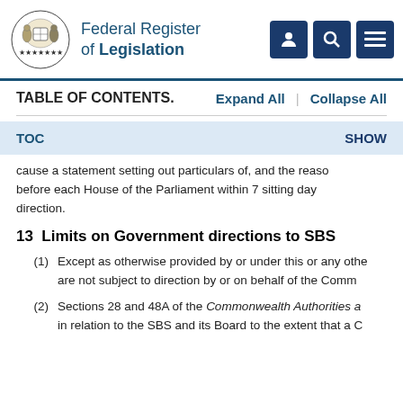Federal Register of Legislation
TABLE OF CONTENTS.
cause a statement setting out particulars of, and the reasons for, the direction before each House of the Parliament within 7 sitting days after giving the direction.
13  Limits on Government directions to SBS
(1)  Except as otherwise provided by or under this or any other Act, SBS and its Board are not subject to direction by or on behalf of the Commonwealth.
(2)  Sections 28 and 48A of the Commonwealth Authorities and Corporations Act 1997 apply in relation to the SBS and its Board to the extent that a Commonwealth authority...